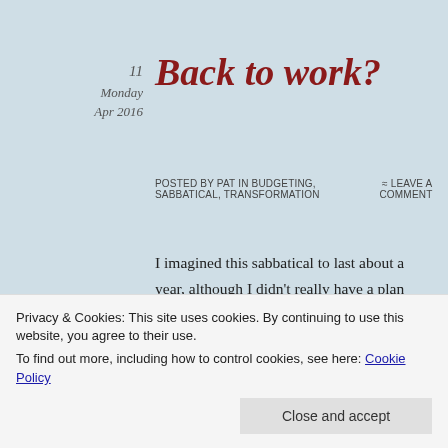11 Monday Apr 2016
Back to work?
Posted by Pat in Budgeting, Sabbatical, Transformation ≈ Leave a comment
I imagined this sabbatical to last about a year, although I didn't really have a plan beyond restoring my energy, focus, and emotional balance.  I made a budget, got some books from the library, watched a LOT of tv (mostly Hallmark movies) and played on my computer.  I took walks when the weather was nice.  I
Privacy & Cookies: This site uses cookies. By continuing to use this website, you agree to their use.
To find out more, including how to control cookies, see here: Cookie Policy
Close and accept